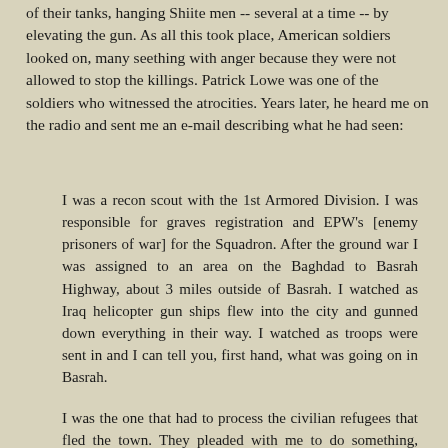of their tanks, hanging Shiite men -- several at a time -- by elevating the gun. As all this took place, American soldiers looked on, many seething with anger because they were not allowed to stop the killings. Patrick Lowe was one of the soldiers who witnessed the atrocities. Years later, he heard me on the radio and sent me an e-mail describing what he had seen:
I was a recon scout with the 1st Armored Division. I was responsible for graves registration and EPW's [enemy prisoners of war] for the Squadron. After the ground war I was assigned to an area on the Baghdad to Basrah Highway, about 3 miles outside of Basrah. I watched as Iraq helicopter gun ships flew into the city and gunned down everything in their way. I watched as troops were sent in and I can tell you, first hand, what was going on in Basrah.
I was the one that had to process the civilian refugees that fled the town. They pleaded with me to do something, anything to stop this wholesale mass murder. I heard stories of women and children being burned alive, in their homes. Women being raped to death, men being chopped